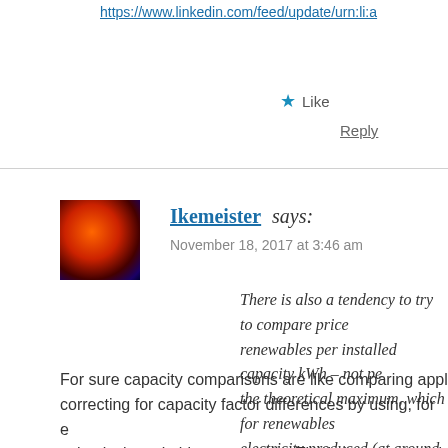https://www.linkedin.com/feed/update/urn:li:a
Like
Reply
Ikemeister says:
November 18, 2017 at 3:46 am
There is also a tendency to try to compare price renewables per installed capacity kWh – not pe the theoretical maximum, which for renewables electricity produced (at around a third), wherea power is near its theoretical maximum (ca 90 %
For sure capacity comparisons are like comparing appl correcting for capacity factor differences by using, for e value isn't equitably comparable. That's because much (IRE) power is produced at a point in time and space th